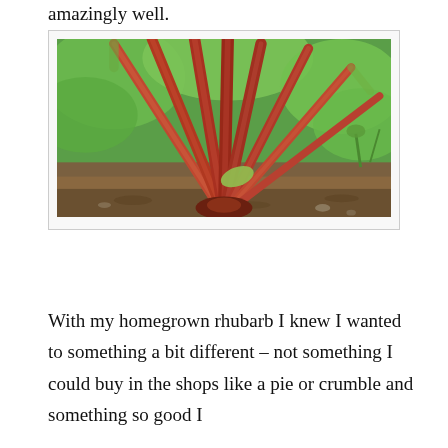amazingly well.
[Figure (photo): A rhubarb plant growing in a garden, showing multiple red and green stalks fanning out from the base, with large green leaves overhead and soil/mulch visible at the ground level.]
With my homegrown rhubarb I knew I wanted to something a bit different – not something I could buy in the shops like a pie or crumble and something so good I